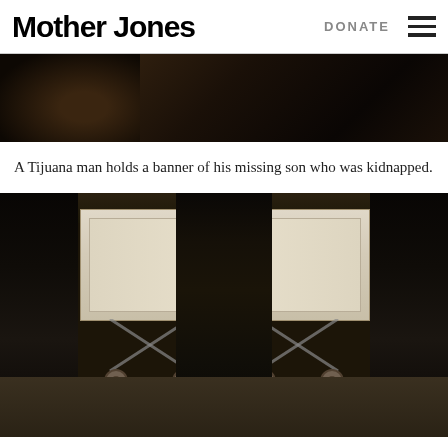Mother Jones | DONATE
[Figure (photo): Cropped photo showing a Tijuana man holding a banner of his missing son who was kidnapped — dark, moody image showing partial figures.]
A Tijuana man holds a banner of his missing son who was kidnapped.
[Figure (photo): Dark, high-contrast photograph of figures standing around a white casket on a wheeled cart, showing only the legs and lower bodies of the funeral attendees dressed in black.]